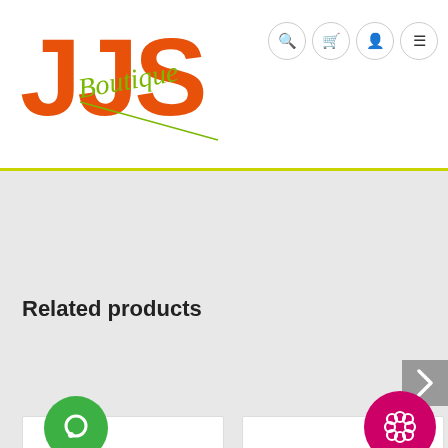[Figure (logo): JJS Boutique logo with orange bold letters JJS and green cursive Boutique text]
[Figure (screenshot): Navigation icons: search, cart, user, hamburger menu in circular bordered buttons]
Related products
[Figure (screenshot): Next arrow button (chevron right) in gray square]
[Figure (screenshot): Green circular chat/comment badge icon over left product card]
[Figure (screenshot): Pink/magenta circular flower badge icon over right product card]